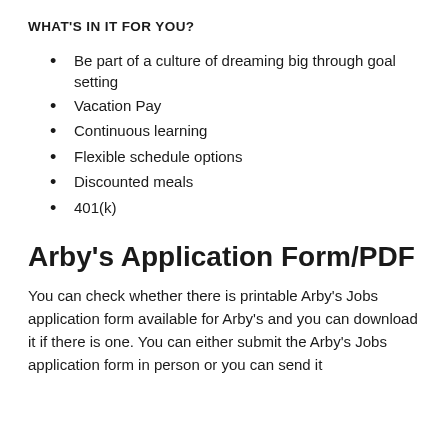WHAT'S IN IT FOR YOU?
Be part of a culture of dreaming big through goal setting
Vacation Pay
Continuous learning
Flexible schedule options
Discounted meals
401(k)
Arby's Application Form/PDF
You can check whether there is printable Arby's Jobs application form available for Arby's and you can download it if there is one. You can either submit the Arby's Jobs application form in person or you can send it